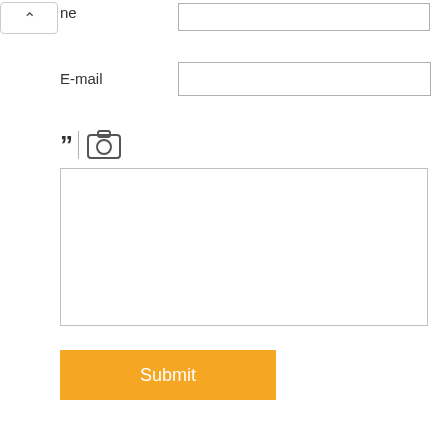ne
E-mail
[Figure (other): Toolbar with quotation mark icon and camera icon]
Submit